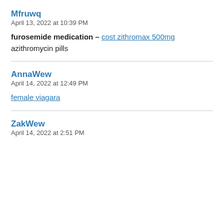Mfruwq
April 13, 2022 at 10:39 PM
furosemide medication – cost zithromax 500mg azithromycin pills
AnnaWew
April 14, 2022 at 12:49 PM
female viagara
ZakWew
April 14, 2022 at 2:51 PM